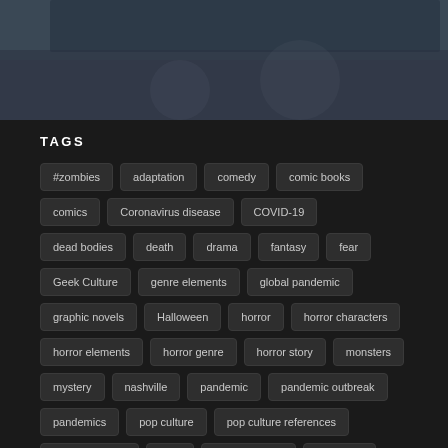[Figure (photo): Top portion showing a dark banner/header image over a monochrome outdoor scene]
TAGS
#zombies
adaptation
comedy
comic books
comics
Coronavirus disease
COVID-19
dead bodies
death
drama
fantasy
fear
Geek Culture
genre elements
global pandemic
graphic novels
Halloween
horror
horror characters
horror elements
horror genre
horror story
monsters
mystery
nashville
pandemic
pandemic outbreak
pandemics
pop culture
pop culture references
popular culture
sci-fi
science fiction
Season 1
season premiere
sequel
Superheroes and Villains
television series
the walking dead